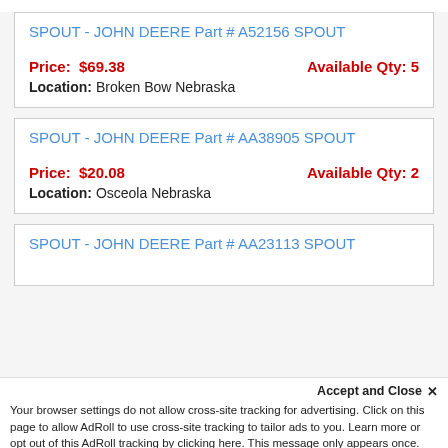SPOUT - JOHN DEERE Part # A52156 SPOUT
Price: $69.38  Available Qty: 5  Location: Broken Bow Nebraska
SPOUT - JOHN DEERE Part # AA38905 SPOUT
Price: $20.08  Available Qty: 2  Location: Osceola Nebraska
SPOUT - JOHN DEERE Part # AA23113 SPOUT
Accept and Close ×
Your browser settings do not allow cross-site tracking for advertising. Click on this page to allow AdRoll to use cross-site tracking to tailor ads to you. Learn more or opt out of this AdRoll tracking by clicking here. This message only appears once.